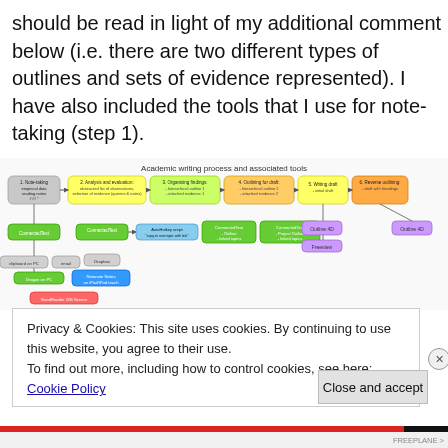should be read in light of my additional comment below (i.e. there are two different types of outlines and sets of evidence represented). I have also included the tools that I use for note-taking (step 1).
[Figure (flowchart): Flowchart titled 'Academic writing process and associated tools' showing 6 steps from note-taking to reverse outlining, with associated software tools like ConnectedText, AutoHotkey, Dragon, Freeplane, Outline 4D, and Freeview connected by arrows.]
Privacy & Cookies: This site uses cookies. By continuing to use this website, you agree to their use.
To find out more, including how to control cookies, see here: Cookie Policy
Close and accept